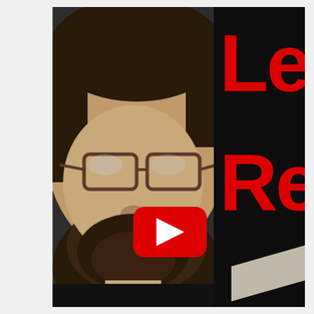[Figure (screenshot): YouTube video thumbnail showing a bearded man with glasses speaking, with large red bold text partially visible on the right reading 'Lea' and 'Re' (likely 'Learn' and 'React' or similar), overlaid with a YouTube play button (red rounded rectangle with white triangle). Right side has a dark/black background with the red letters. The man is wearing a black shirt.]